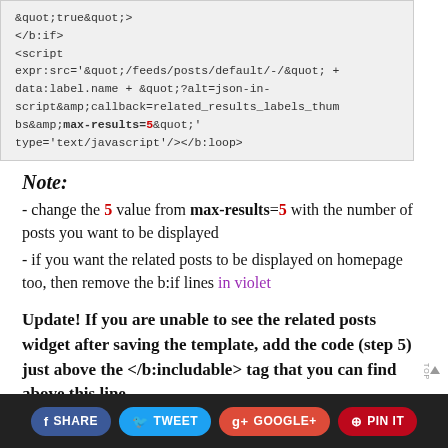[Figure (screenshot): Code block showing XML/template code with &quot;true&quot;>, </b:if>, <script> tag with expr:src attribute referencing feeds/posts/default with json-in-script callback and max-results=5, and type='text/javascript'/></b:loop>]
Note:
- change the 5 value from max-results=5 with the number of posts you want to be displayed
- if you want the related posts to be displayed on homepage too, then remove the b:if lines in violet
Update! If you are unable to see the related posts widget after saving the template, add the code (step 5) just above the </b:includable> tag that you can find above this line.
SHARE  TWEET  GOOGLE+  PIN IT